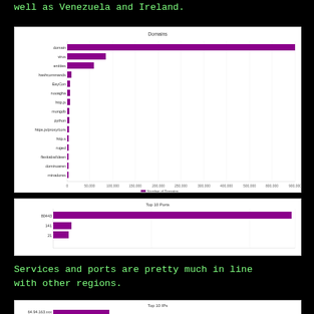well as Venezuela and Ireland.
[Figure (bar-chart): Domains]
[Figure (bar-chart): Top 10 Ports]
Services and ports are pretty much in line
with other regions.
[Figure (bar-chart): Top 10 IPs]